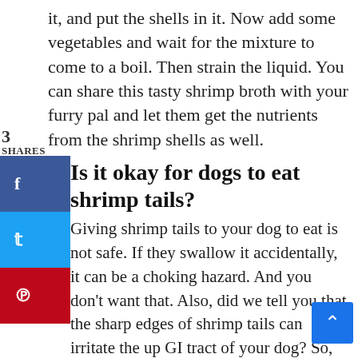it, and put the shells in it. Now add some vegetables and wait for the mixture to come to a boil. Then strain the liquid. You can share this tasty shrimp broth with your furry pal and let them get the nutrients from the shrimp shells as well.
3 SHARES
Is it okay for dogs to eat shrimp tails?
Giving shrimp tails to your dog to eat is not safe. If they swallow it accidentally, it can be a choking hazard. And you don't want that. Also, did we tell you that the sharp edges of shrimp tails can irritate the upper GI tract of your dog? So, go to the supermarket, visit the frozen section, and